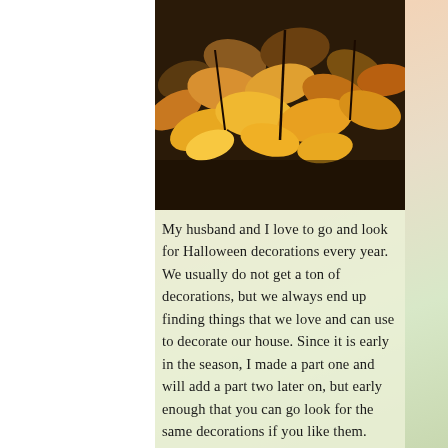[Figure (photo): Close-up photo of autumn/fall leaves in warm orange, yellow, and brown tones, appears to be Halloween season themed.]
My husband and I love to go and look for Halloween decorations every year. We usually do not get a ton of decorations, but we always end up finding things that we love and can use to decorate our house. Since it is early in the season, I made a part one and will add a part two later on, but early enough that you can go look for the same decorations if you like them.

Here's what we found: